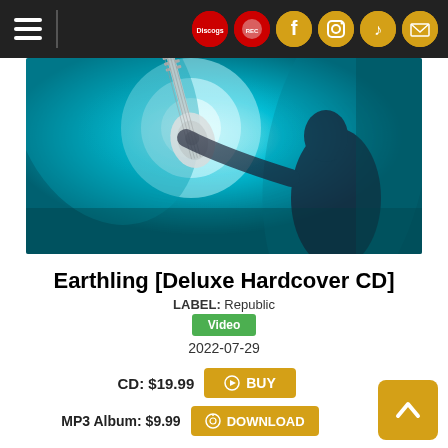Navigation bar with hamburger menu and social icons (Discogs, Facebook, Instagram, TikTok, Mail)
[Figure (photo): Teal-toned photo of a person holding up a guitar against a large circular light backdrop]
Earthling [Deluxe Hardcover CD]
LABEL: Republic
Video
2022-07-29
CD: $19.99  BUY
MP3 Album: $9.99  DOWNLOAD